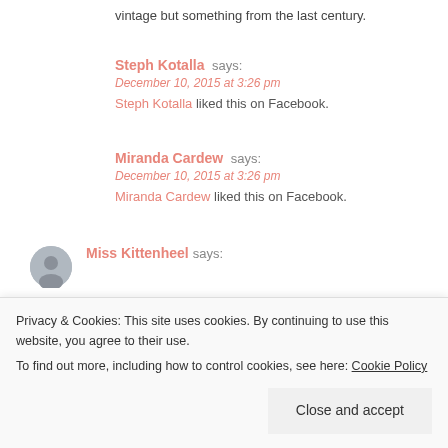vintage but something from the last century.
Steph Kotalla says:
December 10, 2015 at 3:26 pm
Steph Kotalla liked this on Facebook.
Miranda Cardew says:
December 10, 2015 at 3:26 pm
Miranda Cardew liked this on Facebook.
Miss Kittenheel says:
Privacy & Cookies: This site uses cookies. By continuing to use this website, you agree to their use.
To find out more, including how to control cookies, see here: Cookie Policy
Close and accept